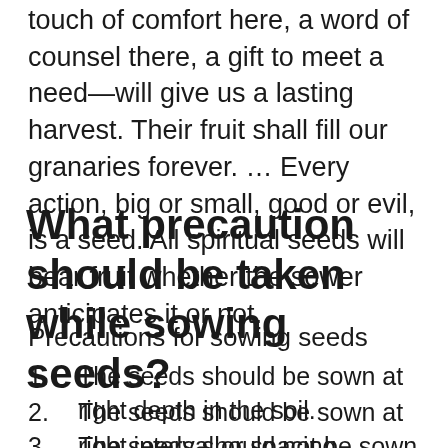touch of comfort here, a word of counsel there, a gift to meet a need—will give us a lasting harvest. Their fruit shall fill our granaries forever. … Every action, big or small, good or evil, is a seed. All spiritual seeds will bear fruit whether the sower anticipates it or not.
What precaution should be taken while sowing seeds?
Precautions for sowing seeds
The seeds should be sown at right depth in the soil.
The seeds should be sown at right interval or spacing.
The seeds should not be sown in a dry